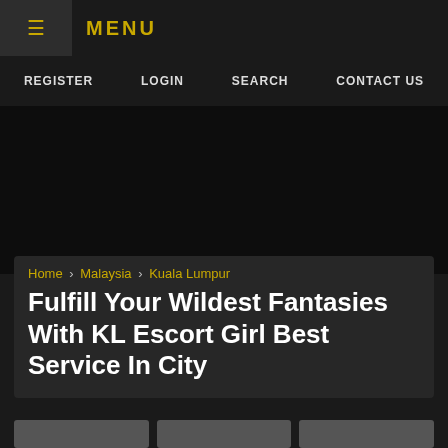≡ MENU
REGISTER  LOGIN  SEARCH  CONTACT US
Home › Malaysia › Kuala Lumpur
Fulfill Your Wildest Fantasies With KL Escort Girl Best Service In City